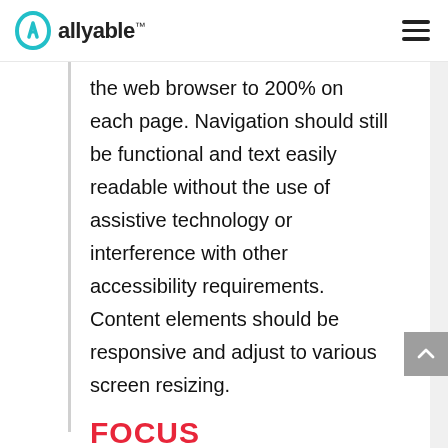allyable™
the web browser to 200% on each page. Navigation should still be functional and text easily readable without the use of assistive technology or interference with other accessibility requirements. Content elements should be responsive and adjust to various screen resizing.
FOCUS